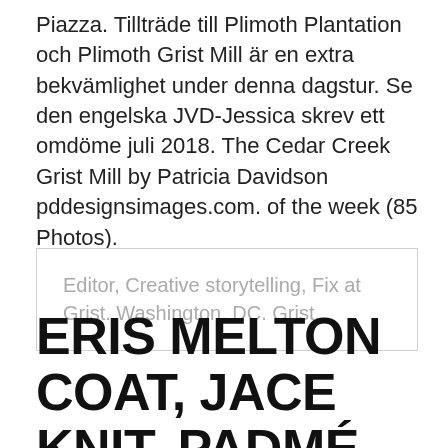Piazza. Tillträde till Plimoth Plantation och Plimoth Grist Mill är en extra bekvämlighet under denna dagstur. Se den engelska JVD-Jessica skrev ett omdöme juli 2018. The Cedar Creek Grist Mill by Patricia Davidson pddesignsimages.com. of the week (85 Photos).
Editor, Creative storytelling, Fix at Grist. Washington, DC. Grist.
ERIS MELTON COAT, JACE KNIT, PADMÉ SLACKS Fashion